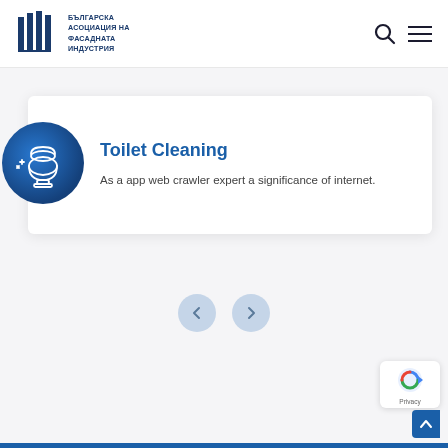[Figure (logo): Bulgarian Association of Facade Industry logo with vertical bars and Cyrillic text: БЪЛГАРСКА АСОЦИАЦИЯ НА ФАСАДНАТА ИНДУСТРИЯ]
Toilet Cleaning
As a app web crawler expert a significance of internet.
[Figure (other): Navigation previous and next arrow buttons (chevron left and right) in light blue circles]
[Figure (other): reCAPTCHA Privacy badge and scroll-to-top button]